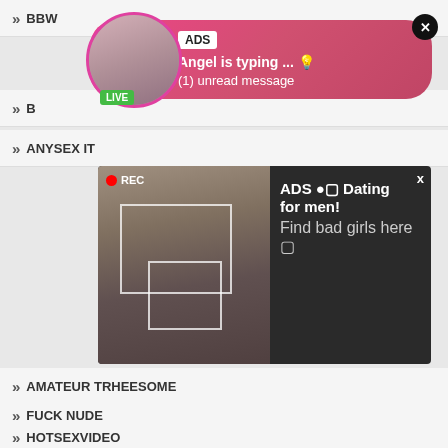» BBW
[Figure (screenshot): Ad bubble with avatar showing LIVE badge, pink gradient background, ADS badge, text 'Angel is typing ... (1) unread message']
» ANYSEX IT
[Figure (screenshot): Dark ad block with woman selfie photo, REC badge, text: ADS • Dating for men! Find bad girls here]
» AMATEUR TRHEESOME
» FUCK NUDE
» HOTSEXVIDEO